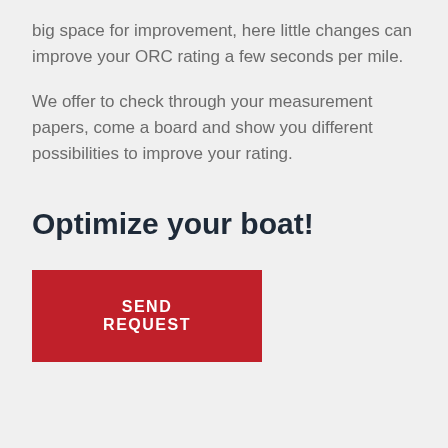big space for improvement, here little changes can improve your ORC rating a few seconds per mile.
We offer to check through your measurement papers, come a board and show you different possibilities to improve your rating.
Optimize your boat!
SEND REQUEST